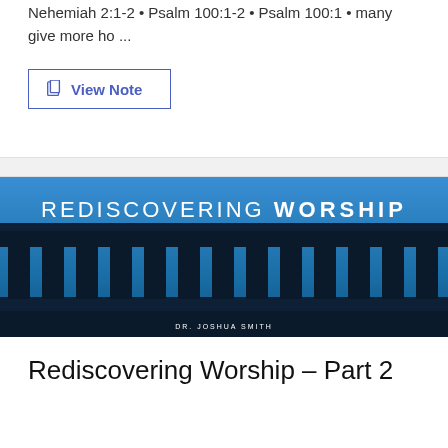Nehemiah 2:1-2 • Psalm 100:1-2 • Psalm 100:1 • many give more ho ...
[Figure (screenshot): View Note button with document icon, bordered rectangle with blue text and icon]
[Figure (illustration): Banner image: ancient Greek/Roman temple columns silhouette against a blue sky background with text 'REDISCOVERING WORSHIP' in white letters and 'DR. JOSHUA SMITH' in small white text at the bottom center]
Rediscovering Worship – Part 2